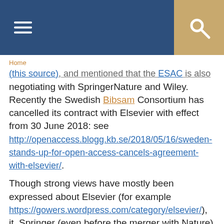[ hamburger menu ] [ search icon ]
Home
([link]), and mentioned that the [link] is also negotiating with SpringerNature and Wiley. Recently the Swedish Bibsam Consortium has cancelled its contract with Elsevier with effect from 30 June 2018: see http://openaccess.blogg.kb.se/2018/05/16/sweden-stands-up-for-open-access-cancels-agreement-with-elsevier/.
Though strong views have mostly been expressed about Elsevier (for example https://gowers.wordpress.com/category/elsevier/), it, Springer (even before the merger with Nature) and Wiley between them accounted for 47% of the Natural/Medical Sciences papers published by...